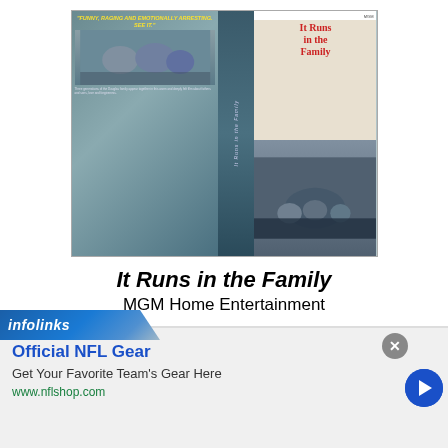[Figure (photo): VHS cover for 'It Runs in the Family' showing front and back covers with movie artwork including family on a boat]
It Runs in the Family
MGM Home Entertainment
2003 | VHS | SLIP | United States
[Figure (photo): VHS cover for 'Last Train from Gun Hill' showing front and back covers with western movie artwork]
[Figure (other): Infolinks advertisement overlay for Official NFL Gear showing 'Get Your Favorite Team's Gear Here' with www.nflshop.com URL and blue arrow button]